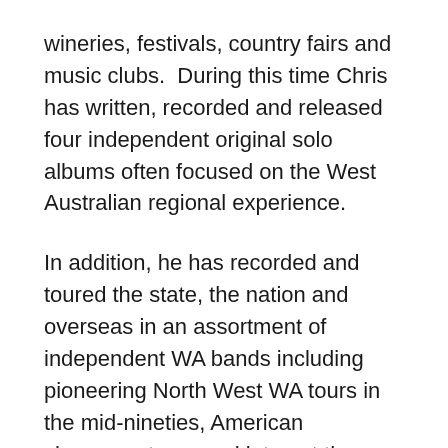wineries, festivals, country fairs and music clubs.  During this time Chris has written, recorded and released four independent original solo albums often focused on the West Australian regional experience.
In addition, he has recorded and toured the state, the nation and overseas in an assortment of independent WA bands including pioneering North West WA tours in the mid-nineties, American showcase tours and later, at the invitation of Rotary International, taking part in a speaking tour of the Netherlands to discuss the viability of the arts and music in regional WA.